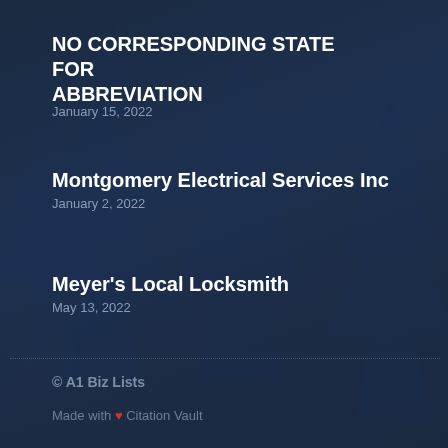NO CORRESPONDING STATE FOR ABBREVIATION
January 15, 2022
Montgomery Electrical Services Inc
January 2, 2022
Meyer’s Local Locksmith
May 13, 2022
© A1 Biz Lists
Made with ♥ Citation Vault